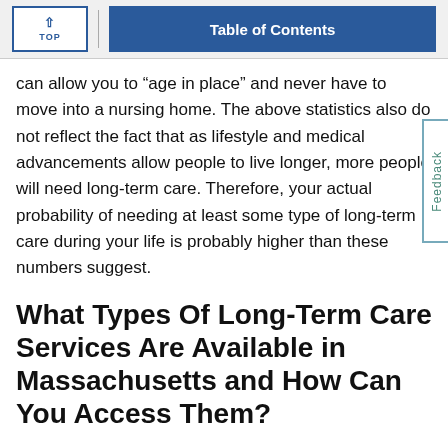TOP | Table of Contents
can allow you to “age in place” and never have to move into a nursing home. The above statistics also do not reflect the fact that as lifestyle and medical advancements allow people to live longer, more people will need long-term care. Therefore, your actual probability of needing at least some type of long-term care during your life is probably higher than these numbers suggest.
What Types Of Long-Term Care Services Are Available in Massachusetts and How Can You Access Them?